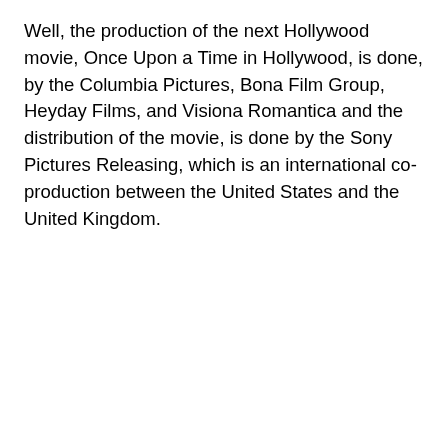Well, the production of the next Hollywood movie, Once Upon a Time in Hollywood, is done, by the Columbia Pictures, Bona Film Group, Heyday Films, and Visiona Romantica and the distribution of the movie, is done by the Sony Pictures Releasing, which is an international co-production between the United States and the United Kingdom.